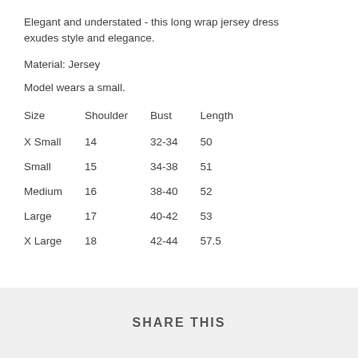Elegant and understated - this long wrap jersey dress exudes style and elegance.
Material: Jersey
Model wears a small.
| Size | Shoulder | Bust | Length |
| --- | --- | --- | --- |
| X Small | 14 | 32-34 | 50 |
| Small | 15 | 34-38 | 51 |
| Medium | 16 | 38-40 | 52 |
| Large | 17 | 40-42 | 53 |
| X Large | 18 | 42-44 | 57.5 |
SHARE THIS